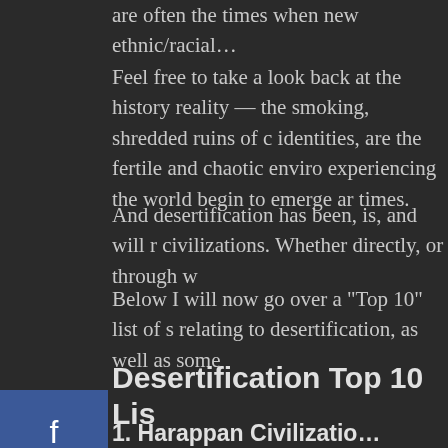are often the times when new ethnic/racial…
Feel free to take a look back at the history reality — the smoking, shredded ruins of c identities, are the fertile and chaotic enviro experiencing the world begin to emerge ar times.
And desertification has been, is, and will r civilizations. Whether directly, or through w
Below I will now go over a "Top 10" list of s relating to desertification, as well as some
Desertification Top 10 Lis
1. Harappan Civilizatio…